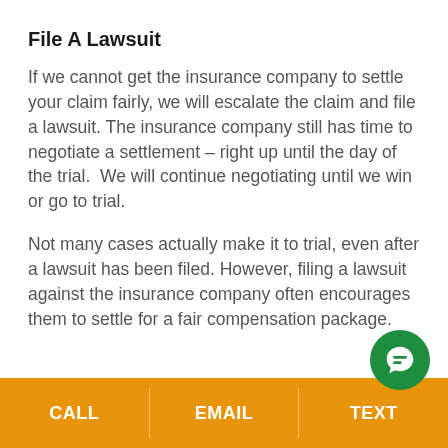File A Lawsuit
If we cannot get the insurance company to settle your claim fairly, we will escalate the claim and file a lawsuit. The insurance company still has time to negotiate a settlement – right up until the day of the trial.  We will continue negotiating until we win or go to trial.
Not many cases actually make it to trial, even after a lawsuit has been filed. However, filing a lawsuit against the insurance company often encourages them to settle for a fair compensation package.
CALL | EMAIL | TEXT